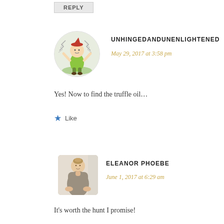REPLY
UNHINGEDANDUNENLIGHTENED
May 29, 2017 at 3:58 pm
Yes! Now to find the truffle oil…
Like
[Figure (illustration): Round avatar of a cartoon character, appearing to be a small elf or fairy with a hat, raising hands with lightning or wind effects, green outfit, watercolor style]
ELEANOR PHOEBE
June 1, 2017 at 6:29 am
[Figure (photo): Rounded square avatar photo of a young woman with hair up, wearing a grey top, looking down, light background]
It's worth the hunt I promise!